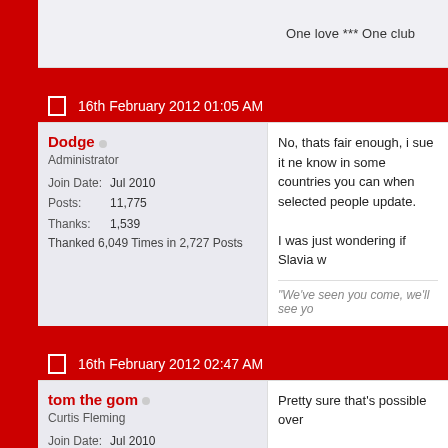One love *** One club
16th February 2012 01:05 AM
Dodge
Administrator
Join Date: Jul 2010
Posts: 11,775
Thanks: 1,539
Thanked 6,049 Times in 2,727 Posts
No, thats fair enough, i sue it ne know in some countries you can when selected people update.

I was just wondering if Slavia w
"We've seen you come, we'll see yo
16th February 2012 02:47 AM
tom the gom
Curtis Fleming
Join Date: Jul 2010
Location: Dark Side of the Moon
Posts: 937
Pretty sure that's possible over